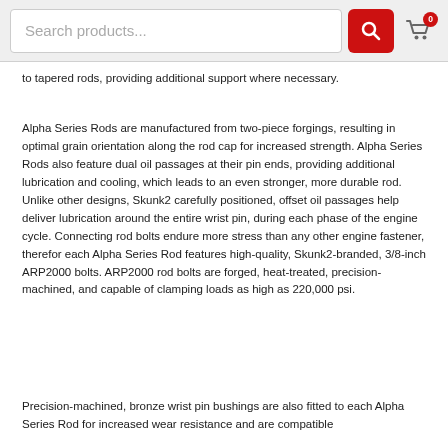Search products... [search button] [cart: 0]
to tapered rods, providing additional support where necessary.
Alpha Series Rods are manufactured from two-piece forgings, resulting in optimal grain orientation along the rod cap for increased strength. Alpha Series Rods also feature dual oil passages at their pin ends, providing additional lubrication and cooling, which leads to an even stronger, more durable rod. Unlike other designs, Skunk2 carefully positioned, offset oil passages help deliver lubrication around the entire wrist pin, during each phase of the engine cycle. Connecting rod bolts endure more stress than any other engine fastener, therefor each Alpha Series Rod features high-quality, Skunk2-branded, 3/8-inch ARP2000 bolts. ARP2000 rod bolts are forged, heat-treated, precision-machined, and capable of clamping loads as high as 220,000 psi.
Precision-machined, bronze wrist pin bushings are also fitted to each Alpha Series Rod for increased wear resistance and are compatible